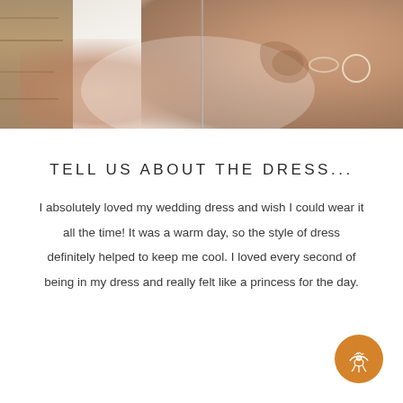[Figure (photo): Close-up photo of hands buttoning or fastening a white wedding dress, with a bracelet visible on one wrist and dark wood furniture in the background.]
TELL US ABOUT THE DRESS...
I absolutely loved my wedding dress and wish I could wear it all the time! It was a warm day, so the style of dress definitely helped to keep me cool. I loved every second of being in my dress and really felt like a princess for the day.